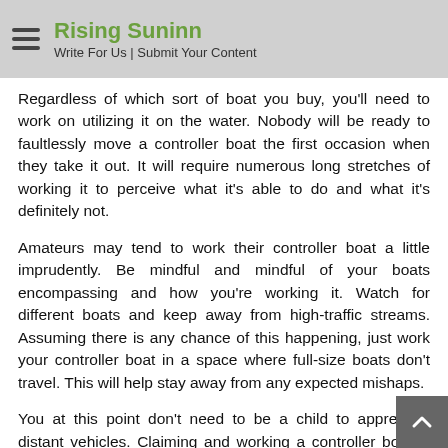Rising Suninn — Write For Us | Submit Your Content
Regardless of which sort of boat you buy, you'll need to work on utilizing it on the water. Nobody will be ready to faultlessly move a controller boat the first occasion when they take it out. It will require numerous long stretches of working it to perceive what it's able to do and what it's definitely not.
Amateurs may tend to work their controller boat a little imprudently. Be mindful and mindful of your boats encompassing and how you're working it. Watch for different boats and keep away from high-traffic streams. Assuming there is any chance of this happening, just work your controller boat in a space where full-size boats don't travel. This will help stay away from any expected mishaps.
You at this point don't need to be a child to appreciate distant vehicles. Claiming and working a controller boat is pleasant for individuals, all things considered. To completely make most of your boat, however, you need to invest energy